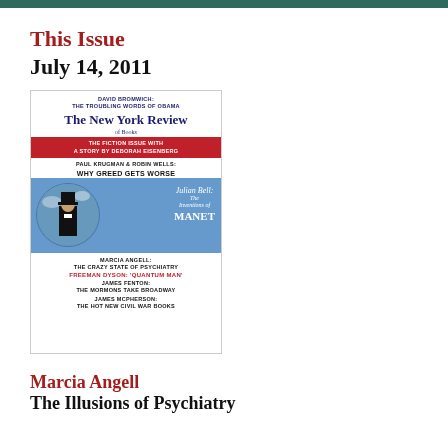This Issue
July 14, 2011
[Figure (illustration): Cover of The New York Review of Books, July 14, 2011 issue. Features headlines: DAVID BROMWICH: THE TROUBLING WORDS OF OBAMA; THE FICTION ISSUE WITH A STORY BY DEBORAH EISENBERG; PAUL KRUGMAN & ROBIN WELLS: WHY GREED GETS WORSE; Julian Bell: The Inventions of MANET (with circular image of figure in top hat); MARCIA ANGELL: THE CRAZY STATE OF PSYCHIATRY; FREEMAN DYSON: 'QUANTUM MAN'; JAMES FENTON: THE MORMONS TAKE BROADWAY; JAMES MCPHERSON: THE HOT NEW CIVIL WAR BOOKS]
Marcia Angell
The Illusions of Psychiatry